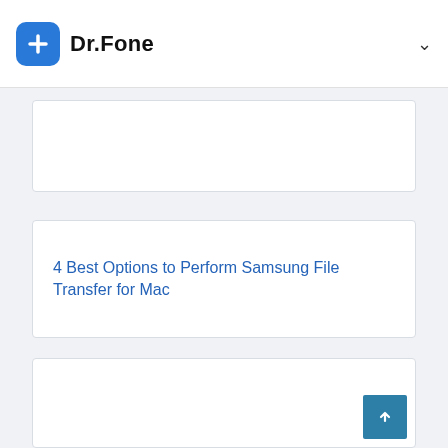Dr.Fone
4 Best Options to Perform Samsung File Transfer for Mac
[Figure (other): Empty white card panel at the bottom of the page with a back-to-top button in the bottom-right corner]